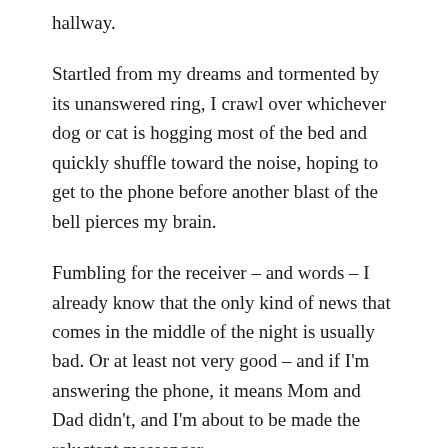hallway.
Startled from my dreams and tormented by its unanswered ring, I crawl over whichever dog or cat is hogging most of the bed and quickly shuffle toward the noise, hoping to get to the phone before another blast of the bell pierces my brain.
Fumbling for the receiver – and words – I already know that the only kind of news that comes in the middle of the night is usually bad. Or at least not very good – and if I'm answering the phone, it means Mom and Dad didn't, and I'm about to be made the reluctant messenger.